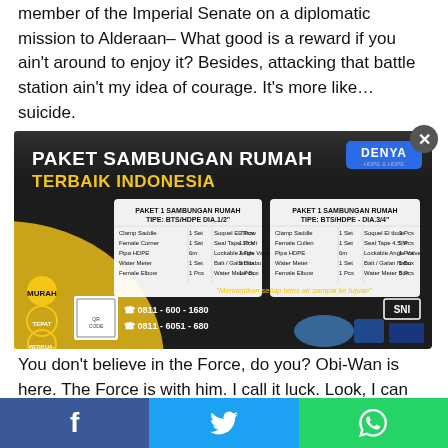member of the Imperial Senate on a diplomatic mission to Alderaan– What good is a reward if you ain't around to enjoy it? Besides, attacking that battle station ain't my idea of courage. It's more like...suicide.
[Figure (photo): Advertisement banner for 'Paket Sambungan Rumah Terbaik Indonesia' (Best Home Connection Package in Indonesia) featuring two product package tables with component lists, QR code, phone numbers 0811-600-1680 and 0811-6051-680, quality badges (MURAH, TEPAT WAKTU, BERKUALITAS), SNI label, and product images of water meters and pipes.]
You don't believe in the Force, do you? Obi-Wan is here. The Force is with him. I call it luck. Look, I can take you as far as Anchorhead. You can get a transport there to Mos Eisley or
Facebook  Twitter  WhatsApp